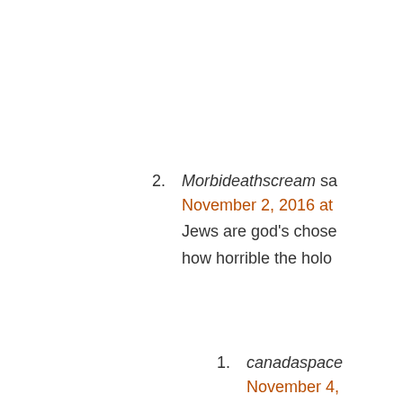2. Morbideathscream sa... November 2, 2016 at ... Jews are god's chose... how horrible the holo...
1. canadaspace... November 4,... THIS is the b... them out, for...